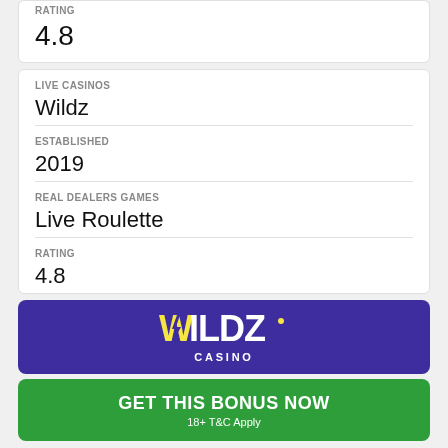| RATING | 4.8 |
| LIVE CASINOS | Wildz |
| ESTABLISHED | 2019 |
| REAL DEALERS GAMES | Live Roulette |
| RATING | 4.8 |
[Figure (logo): Wildz Casino logo on purple background]
GET THIS BONUS NOW
18+ T&C Apply